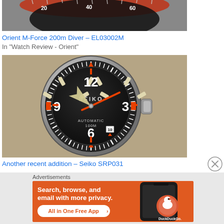[Figure (photo): Close-up of a watch bezel and crown, appears to be Orient watch with red elements, partially visible]
Orient M-Force 200m Diver – EL03002M
In "Watch Review - Orient"
[Figure (photo): Seiko SRP031 automatic watch with black dial showing 12, 3, 6, 9 numerals, SEIKO branding, AUTOMATIC 100M text, orange/red accents, date window at 4:30 position, silver case]
Another recent addition – Seiko SRP031
Advertisements
[Figure (infographic): DuckDuckGo advertisement banner with orange background. Text reads: Search, browse, and email with more privacy. All in One Free App. Shows DuckDuckGo logo and phone screenshot on right side.]